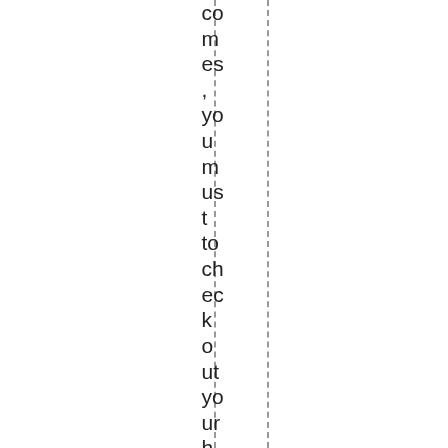comes, you must to check out your hand and and think things co